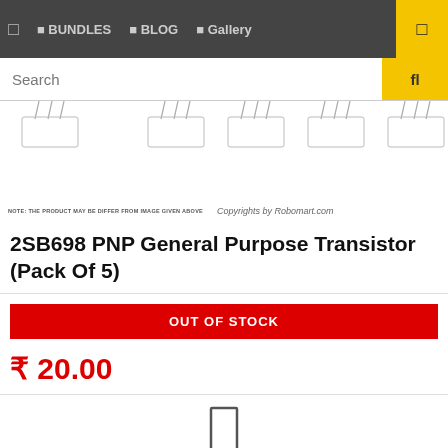□  BUNDLES  □ BLOG  □ Gallery
Search
[Figure (photo): Partial image of electronic components (transistors) showing leads at top, cropped product image]
NOTE: THE PRODUCT MAY BE DIFFER FROM IMAGE GIVEN ABOVE   Copyrights by Robomart.com
2SB698 PNP General Purpose Transistor (Pack Of 5)
OUT OF STOCK
₹ 20.00
[Figure (illustration): Small rectangle/box icon at bottom center of page]